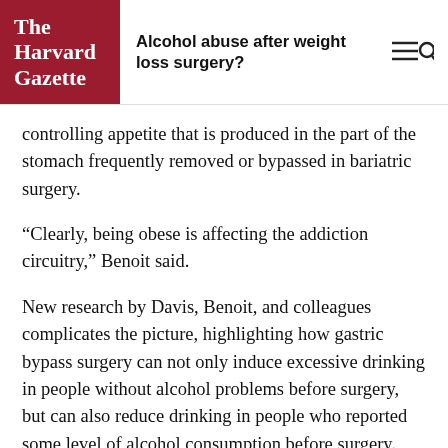The Harvard Gazette | Alcohol abuse after weight loss surgery?
controlling appetite that is produced in the part of the stomach frequently removed or bypassed in bariatric surgery.
“Clearly, being obese is affecting the addiction circuitry,” Benoit said.
New research by Davis, Benoit, and colleagues complicates the picture, highlighting how gastric bypass surgery can not only induce excessive drinking in people without alcohol problems before surgery, but can also reduce drinking in people who reported some level of alcohol consumption before surgery.
The study, which appeared in March in the journal Biological Psychiatry, more than 6,000...